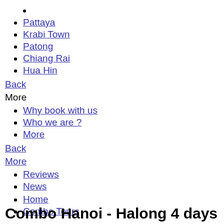Pattaya
Krabi Town
Patong
Chiang Rai
Hua Hin
Back
More
Why book with us
Who we are ?
More
Back
More
Reviews
News
Home
Combo Tours
Combo Hanoi - Halong 4 days